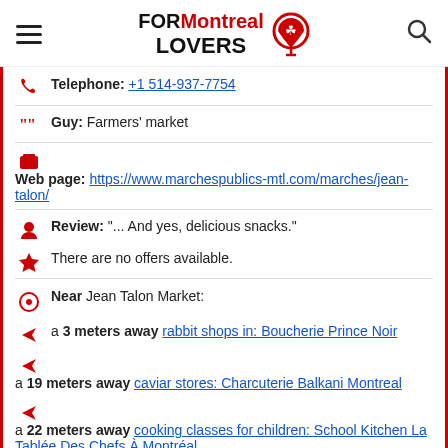FOR Montreal LOVERS
Telephone: +1 514-937-7754
Guy: Farmers' market
Web page: https://www.marchespublics-mtl.com/marches/jean-talon/
Review: "... And yes, delicious snacks."
There are no offers available.
Near Jean Talon Market:
a 3 meters away rabbit shops in: Boucherie Prince Noir
a 19 meters away caviar stores: Charcuterie Balkani Montreal
a 22 meters away cooking classes for children: School Kitchen La Tablée Des Chefs À Montréal